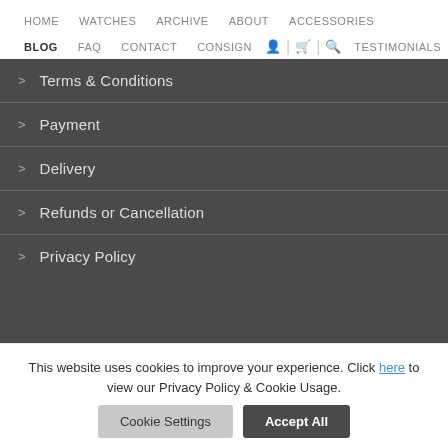HOME  WATCHES  ARCHIVE  ABOUT  ACCESSORIES  BLOG  FAQ  CONTACT  CONSIGN  TESTIMONIALS
> Terms & Conditions
> Payment
> Delivery
> Refunds or Cancellation
> Privacy Policy
This website uses cookies to improve your experience. Click here to view our Privacy Policy & Cookie Usage.